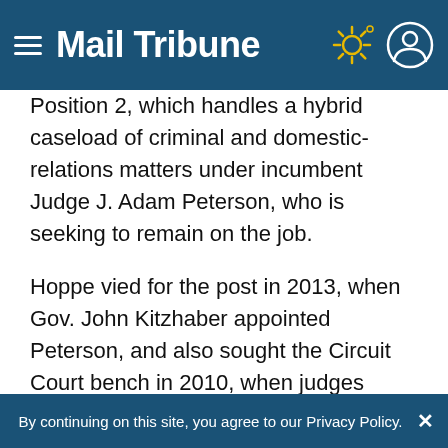Mail Tribune
Position 2, which handles a hybrid caseload of criminal and domestic-relations matters under incumbent Judge J. Adam Peterson, who is seeking to remain on the job.

Hoppe vied for the post in 2013, when Gov. John Kitzhaber appointed Peterson, and also sought the Circuit Court bench in 2010, when judges Timothy Gerking and Benjamin Bloom were appointed.

"This is not something new," said Hoppe, of his
By continuing on this site, you agree to our Privacy Policy.